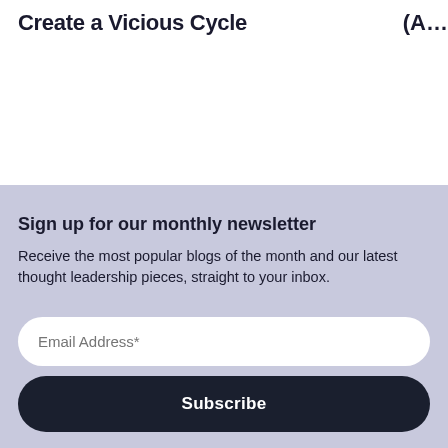Create a Vicious Cycle (A…
Sign up for our monthly newsletter
Receive the most popular blogs of the month and our latest thought leadership pieces, straight to your inbox.
Email Address*
Subscribe